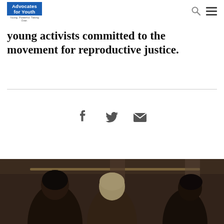Advocates for Youth — Young. Powerful. Taking Over.
young activists committed to the movement for reproductive justice.
[Figure (photo): Group photo of young activists in an indoor setting, cropped at bottom of page]
[Figure (infographic): Social sharing icons: Facebook, Twitter, Email]